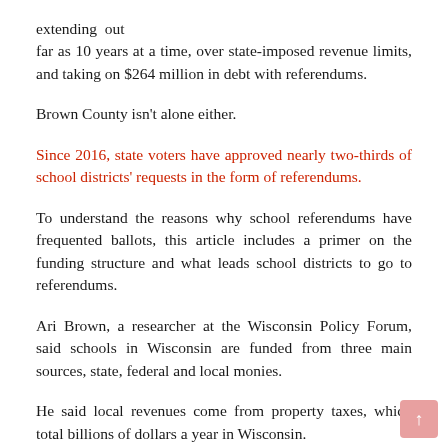extending out far as 10 years at a time, over state-imposed revenue limits, and taking on $264 million in debt with referendums.
Brown County isn't alone either.
Since 2016, state voters have approved nearly two-thirds of school districts' requests in the form of referendums.
To understand the reasons why school referendums have frequented ballots, this article includes a primer on the funding structure and what leads school districts to go to referendums.
Ari Brown, a researcher at the Wisconsin Policy Forum, said schools in Wisconsin are funded from three main sources, state, federal and local monies.
He said local revenues come from property taxes, which total billions of dollars a year in Wisconsin.